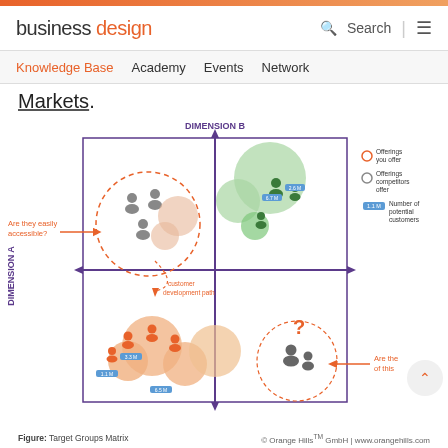business design — Search
Knowledge Base  Academy  Events  Network
Markets.
[Figure (infographic): Target Groups Matrix: A 2x2 matrix with Dimension A (vertical axis) and Dimension B (horizontal axis). The matrix shows green circles (offerings competitors offer) in top quadrants, orange circles (offerings you offer) in bottom-left and center-bottom quadrants, and gray person icons in various locations. Orange dashed circle in top-left with gray person icons labeled 'Are they easily accessible?' with arrow. Orange dashed circle in bottom-right with gray person icons and '?' label. Text 'customer development path' with dashed arrow. Blue labels with numbers: 1.1M, 3.3M, 6.5M, 6.7M, 2.6M. Legend on right: orange circle = Offerings you offer, gray circle = Offerings competitors offer, blue label = Number of potential customers.]
Figure: Target Groups Matrix
© Orange Hills™ GmbH | www.orangehills.com